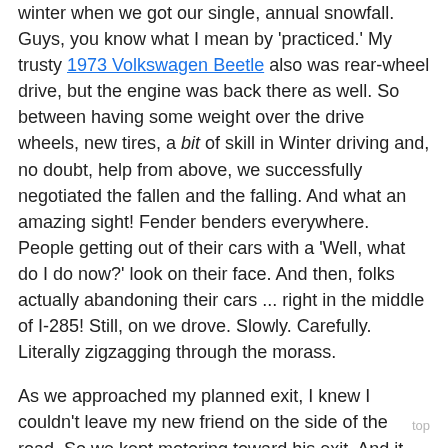winter when we got our single, annual snowfall. Guys, you know what I mean by 'practiced.' My trusty 1973 Volkswagen Beetle also was rear-wheel drive, but the engine was back there as well. So between having some weight over the drive wheels, new tires, a bit of skill in Winter driving and, no doubt, help from above, we successfully negotiated the fallen and the falling. And what an amazing sight! Fender benders everywhere. People getting out of their cars with a 'Well, what do I do now?' look on their face. And then, folks actually abandoning their cars ... right in the middle of I-285! Still, on we drove. Slowly. Carefully. Literally zigzagging through the morass.
As we approached my planned exit, I knew I couldn't leave my new friend on the side of the road. So we kept motoring toward his exit. And it really wasn't that much further. Normally.
He was in his late twenties; me, about twenty. He related that he was newly married, and didn't want his bride to be home alone in the storm, hence his dedication to the journey. And by now, we were actually having quite a good time. Honestly, it was hard not laughing at the scene. We were making comparatively good progress, despite dodging collisions constantly. I don't recall exactly how long it took us to get to his exit, but it was several hours and completely dark when we finally got off 285. He said he lived in some apartments at the top of a hill and that I just drop him off at the bottom, though I think he